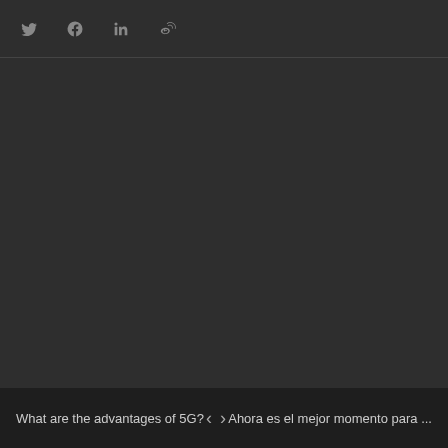Social share icons: Twitter, Facebook, LinkedIn, Weibo
What are the advantages of 5G? < > Ahora es el mejor momento para ...